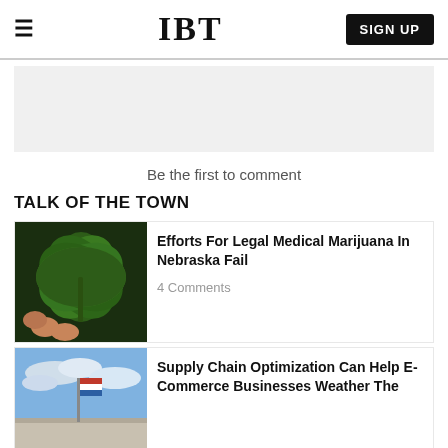IBT | SIGN UP
[Figure (other): Grey advertisement placeholder box]
Be the first to comment
TALK OF THE TOWN
[Figure (photo): Photo of a hand holding a cannabis leaf]
Efforts For Legal Medical Marijuana In Nebraska Fail
4 Comments
[Figure (photo): Photo of a flag on a building against a blue sky]
Supply Chain Optimization Can Help E-Commerce Businesses Weather The